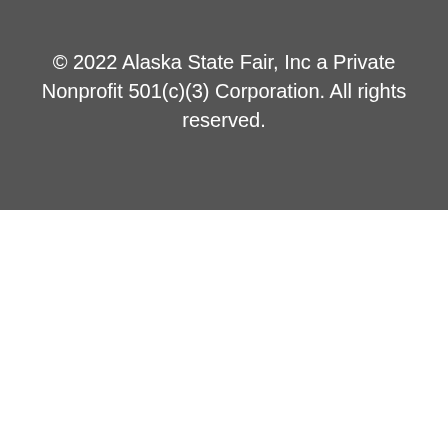© 2022 Alaska State Fair, Inc a Private Nonprofit 501(c)(3) Corporation. All rights reserved.
Thank You To Our Sponsors
[Figure (logo): Sponsor logos: ConocoPhillips, AT&T, Craig Taylor Equipment]